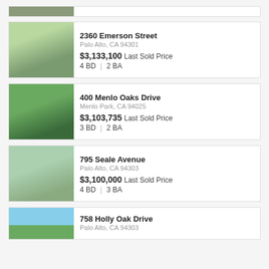[Figure (photo): Partial listing card showing house photo at top of page]
2360 Emerson Street
Palo Alto, CA 94301
$3,133,100 Last Sold Price
4 BD | 2 BA
400 Menlo Oaks Drive
Menlo Park, CA 94025
$3,103,735 Last Sold Price
3 BD | 2 BA
795 Seale Avenue
Palo Alto, CA 94303
$3,100,000 Last Sold Price
4 BD | 3 BA
758 Holly Oak Drive
Palo Alto, CA 94303